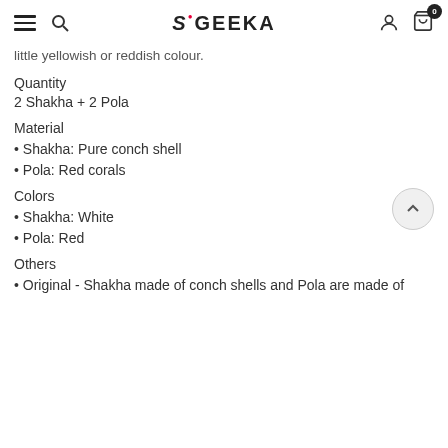SIGEEKA — navigation header with hamburger menu, search, logo, user icon, and cart (0)
little yellowish or reddish colour.
Quantity
2 Shakha + 2 Pola
Material
Shakha: Pure conch shell
Pola: Red corals
Colors
Shakha: White
Pola: Red
Others
Original - Shakha made of conch shells and Pola are made of